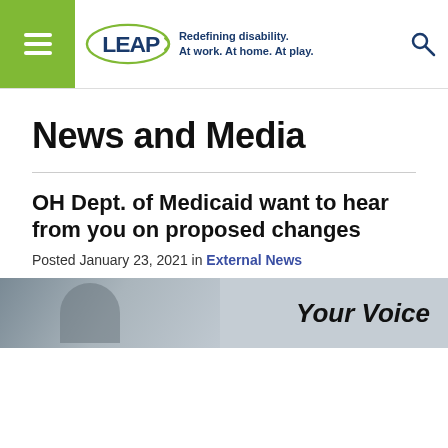[Figure (logo): LEAP organization logo with tagline: Redefining disability. At work. At home. At play.]
News and Media
OH Dept. of Medicaid want to hear from you on proposed changes
Posted January 23, 2021 in External News
[Figure (photo): Photo of a person, with text 'Your Voice' overlaid on the right side]